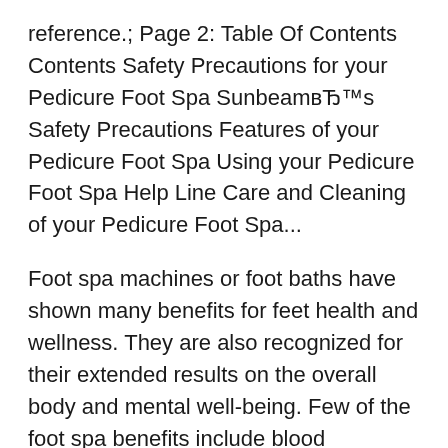reference.; Page 2: Table Of Contents Contents Safety Precautions for your Pedicure Foot Spa SunbeamвЂ™s Safety Precautions Features of your Pedicure Foot Spa Using your Pedicure Foot Spa Help Line Care and Cleaning of your Pedicure Foot Spa...
Foot spa machines or foot baths have shown many benefits for feet health and wellness. They are also recognized for their extended results on the overall body and mental well-being. Few of the foot spa benefits include blood circulation improvement, stress relief, feet and body relaxation, feet pain relief and sleep enhancement through relaxation. Sunbeam Therapeutics Foot Spa Instructions Sunbeam